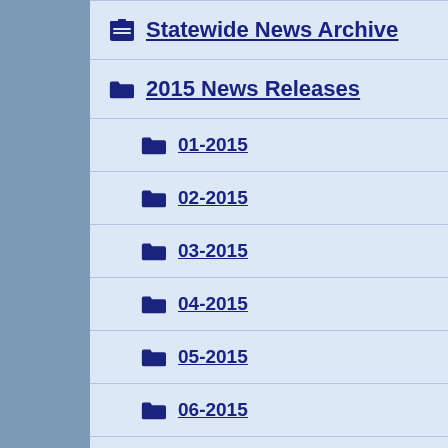Statewide News Archive
2015 News Releases
01-2015
02-2015
03-2015
04-2015
05-2015
06-2015
07-2015